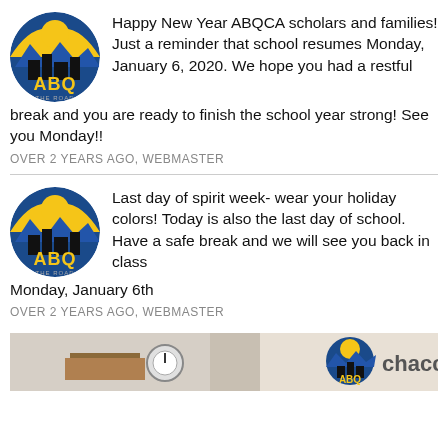[Figure (logo): ABQCA school circular logo with yellow sun, blue mountains, black buildings, and yellow ABQ text]
Happy New Year ABQCA scholars and families! Just a reminder that school resumes Monday, January 6, 2020. We hope you had a restful break and you are ready to finish the school year strong! See you Monday!!
OVER 2 YEARS AGO, WEBMASTER
[Figure (logo): ABQCA school circular logo with yellow sun, blue mountains, black buildings, and yellow ABQ text]
Last day of spirit week- wear your holiday colors! Today is also the last day of school. Have a safe break and we will see you back in class Monday, January 6th
OVER 2 YEARS AGO, WEBMASTER
[Figure (photo): Partial photo of a classroom or school interior showing a gauge and ABQ logo with text 'chacr']